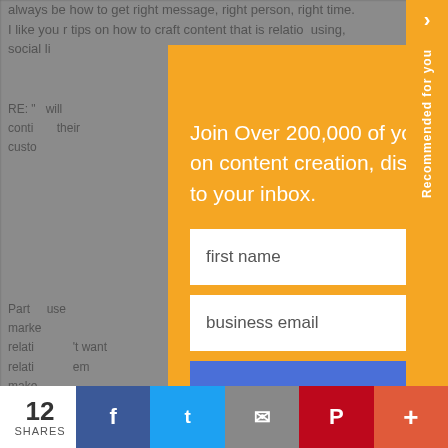always be how to get right message, right person, right time. I like your tips on how to craft content that is relationship using, social li...
RE: ... will conti... their custo...
Part ... use marke... relati... 't want relati... em make...
This ... ve Boar... last year... rest in
[Figure (screenshot): Sign Up Now modal popup overlay on a webpage. Orange background modal with title 'Sign Up Now', body text 'Join Over 200,000 of your Peers and get how-to guidance and advice on content creation, distribution, measurement, and more delivered daily to your inbox.', two input fields (first name, business email), and a blue 'Sign Up Now' button. A close X button in top right. A vertical orange 'Recommended for you' tab on the far right.]
12
SHARES
f  t  [email]  p  +